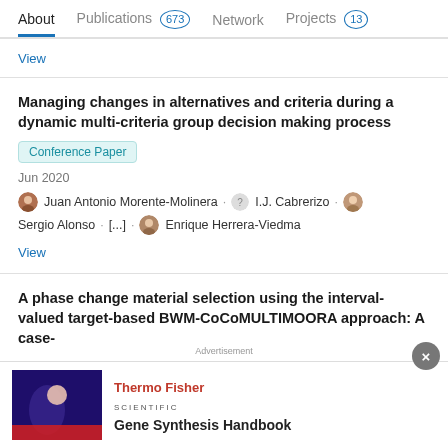About | Publications 673 | Network | Projects 13
View
Managing changes in alternatives and criteria during a dynamic multi-criteria group decision making process
Conference Paper
Jun 2020
Juan Antonio Morente-Molinera · I.J. Cabrerizo · Sergio Alonso · [...] · Enrique Herrera-Viedma
View
A phase change material selection using the interval-valued target-based BWM-CoCoMULTIMOORA approach: A case-
Advertisement
ThermoFisher SCIENTIFIC
Gene Synthesis Handbook